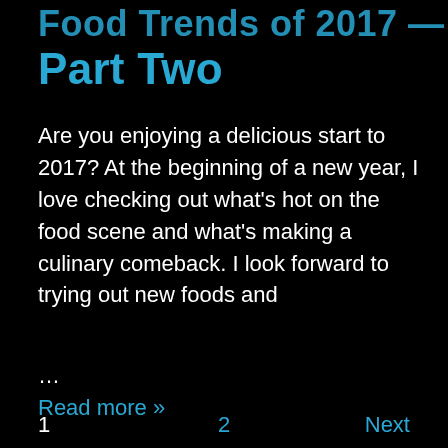Part Two
Are you enjoying a delicious start to 2017? At the beginning of a new year, I love checking out what's hot on the food scene and what's making a culinary comeback. I look forward to trying out new foods and
…
Read more »
POSTED ON  JANUARY 23, 2017  -   POSTED IN CULINARY, FOOD FACTS, FOOD TRENDS, NUTRITION NEWS, RECIPES, TRAVELING FOODIE, WHAT THE HECK IS
1    2    Next